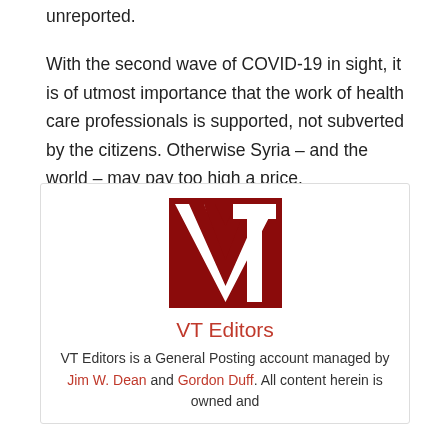unreported.
With the second wave of COVID-19 in sight, it is of utmost importance that the work of health care professionals is supported, not subverted by the citizens. Otherwise Syria – and the world – may pay too high a price.
[Figure (logo): VT (Veterans Today) logo — dark red square with white bold letters V and T]
VT Editors
VT Editors is a General Posting account managed by Jim W. Dean and Gordon Duff. All content herein is owned and copyrighted by Jim W. Dean and Gordon Duff.